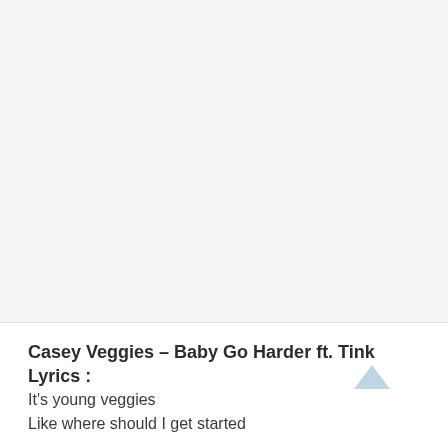Casey Veggies – Baby Go Harder ft. Tink Lyrics :
It's young veggies
Like where should I get started